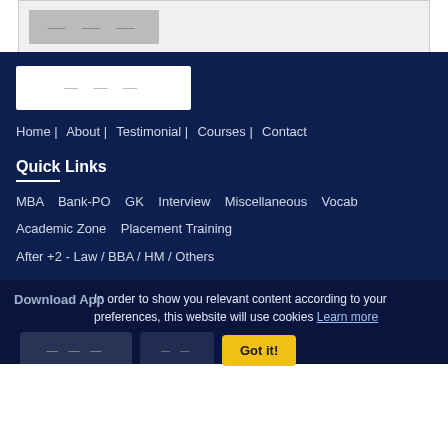[Figure (screenshot): Partial top section with a grey image placeholder on light background]
[Figure (logo): Website logo placeholder in white box on dark navy background]
Home | About | Testimonial | Courses | Contact
Quick Links
MBA   Bank-PO   GK   Interview   Miscellaneous   Vocab
Academic Zone   Placement Training
After +2 - Law / BBA / HM / Others
Download App
In order to show you relevant content according to your preferences, this website will use cookies Learn more
Got it!